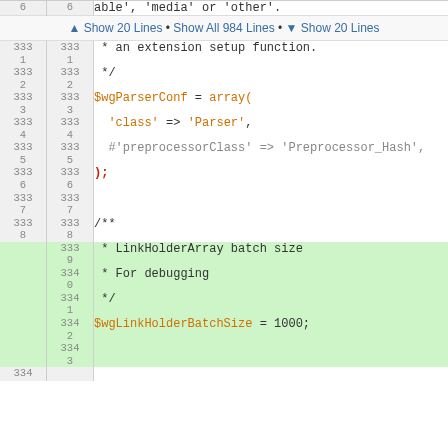| old_ln | new_ln | code |
| --- | --- | --- |
| 6 | 6 | able', 'media' or 'other'. |
|  |  | ▲ Show 20 Lines • Show All 984 Lines • ▼ Show 20 Lines |
| 3331 | 3331 | * an extension setup function. |
| 3332 | 3332 | */ |
| 3333 | 3333 | $wgParserConf = array( |
| 3334 | 3334 |   'class' => 'Parser', |
| 3335 | 3335 |   #'preprocessorClass' => 'Preprocessor_Hash', |
| 3336 | 3336 | ); |
| 3337 | 3337 |  |
| 3338 | 3338 | /** |
|  | 3339 | * LinkHolderArray batch size |
|  | 3340 | * For debugging |
|  | 3341 | */ |
|  | 3342 | $wgLinkHolderBatchSize = 1000; |
|  | 3343 |  |